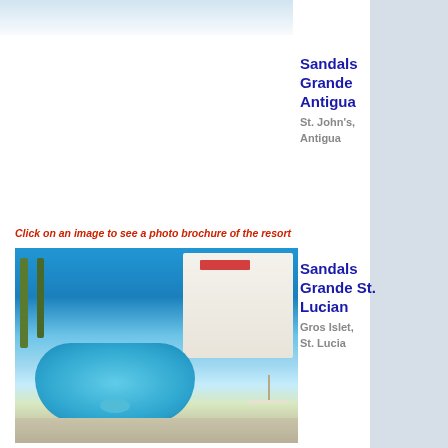[Figure (photo): Partial top photo strip showing what appears to be a sunny beach or resort scene with light sky]
Sandals Grande Antigua
St. John's, Antigua
Click on an image to see a photo brochure of the resort
[Figure (photo): Sandals Grande St. Lucian resort showing large swimming pool in foreground, white hotel building in background, palm trees, and beach chairs under umbrellas on a sunny day]
Sandals Grande St. Lucian
Gros Islet, St. Lucia